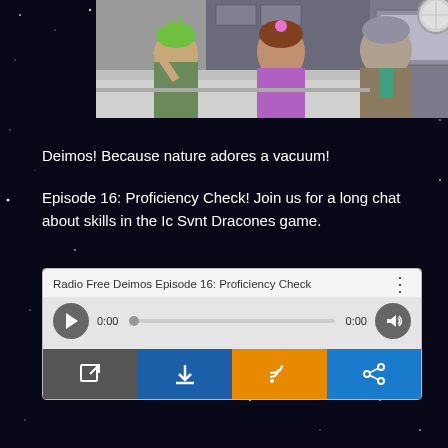[Figure (screenshot): Animated scene showing cartoon anthropomorphic characters at a desk/console in a space-themed environment]
Deimos! Because nature adores a vacuum!
Episode 16: Proficiency Check! Join us for a long chat about skills in the Ic Svnt Dracones game.
[Figure (screenshot): Audio player widget for Radio Free Deimos Episode 16: Proficiency Check, showing play button, progress bar at 0:00, volume button, and action buttons for open, download, RSS, and share]